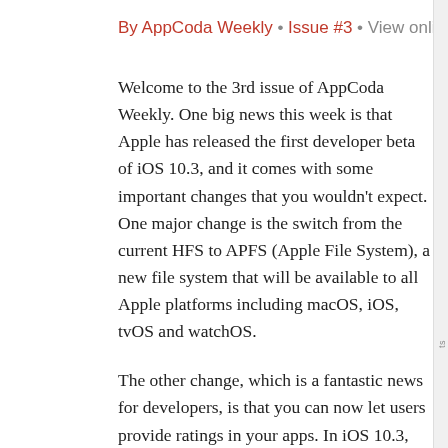By AppCoda Weekly • Issue #3 • View online
Welcome to the 3rd issue of AppCoda Weekly. One big news this week is that Apple has released the first developer beta of iOS 10.3, and it comes with some important changes that you wouldn't expect. One major change is the switch from the current HFS to APFS (Apple File System), a new file system that will be available to all Apple platforms including macOS, iOS, tvOS and watchOS.
The other change, which is a fantastic news for developers, is that you can now let users provide ratings in your apps. In iOS 10.3, developers can use the SKStoreReviewController API to ask users to rate the app without switching to App Store.
Hope you like this newsletter. If you have any feedback (like it or dislike it), I really want to read your comment. Just hit Reply and let me know